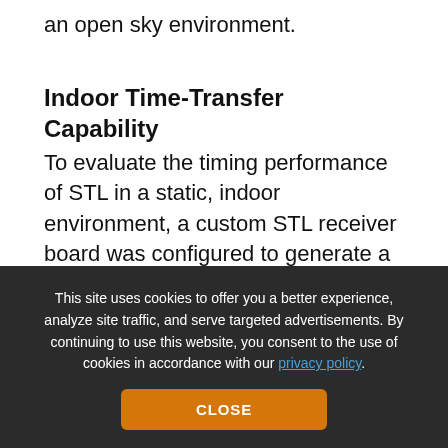an open sky environment.
Indoor Time-Transfer Capability
To evaluate the timing performance of STL in a static, indoor environment, a custom STL receiver board was configured to generate a pulse-per-second (PPS) output. The difference in timing between the STL PPS was then compared to the timing output of a GNSS “truth” reference — in this case, a timing receiver that has nominal timing performance at least an order of
This site uses cookies to offer you a better experience, analyze site traffic, and serve targeted advertisements. By continuing to use this website, you consent to the use of cookies in accordance with our privacy policy.